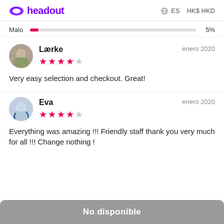headout   ES   HK$ HKD
Malo   5%
Lærke   enero 2020   ★★★★☆   Very easy selection and checkout. Great!
Eva   enero 2020   ★★★★☆   Everything was amazing !!! Friendly staff thank you very much for all !!! Change nothing !
No disponible